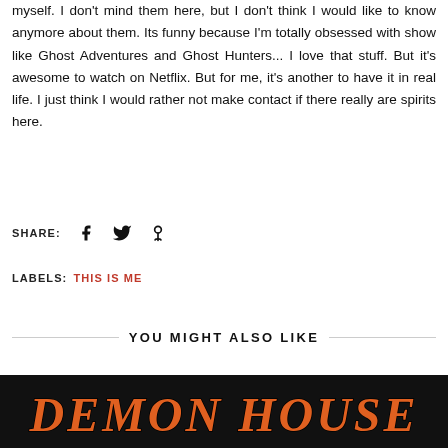myself. I don't mind them here, but I don't think I would like to know anymore about them. Its funny because I'm totally obsessed with show like Ghost Adventures and Ghost Hunters... I love that stuff. But it's awesome to watch on Netflix. But for me, it's another to have it in real life. I just think I would rather not make contact if there really are spirits here.
SHARE: [facebook] [twitter] [pinterest]
LABELS: THIS IS ME
YOU MIGHT ALSO LIKE
[Figure (photo): Dark image strip showing stylized text 'DEMON HOUSE' in orange/white decorative lettering on a dark background]